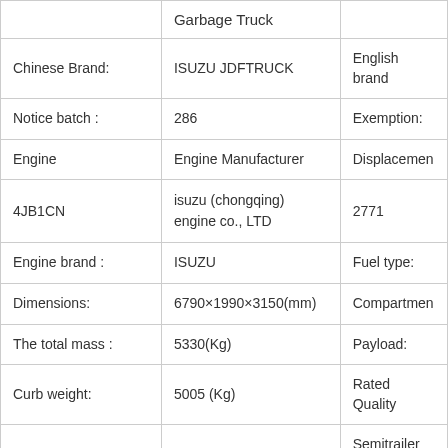|  |  |  |
| --- | --- | --- |
|  | Garbage Truck |  |
| Chinese Brand: | ISUZU JDFTRUCK | English brand |
| Notice batch : | 286 | Exemption: |
| Engine | Engine Manufacturer | Displacement |
| 4JB1CN | isuzu (chongqing) engine co., LTD | 2771 |
| Engine brand : | ISUZU | Fuel type: |
| Dimensions: | 6790×1990×3150(mm) | Compartment |
| The total mass : | 5330(Kg) | Payload: |
| Curb weight: | 5005 (Kg) | Rated Quality |
| Quality Trailer : | (kg) | Semitrailer sa |
| Rated capacity : | ( People ) | Cab seats : |
| Approach / |  |  |